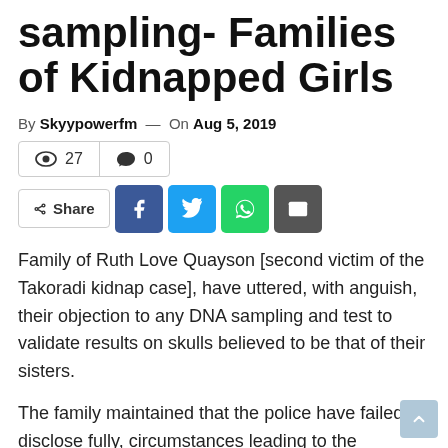sampling- Families of Kidnapped Girls
By Skyypowerfm — On Aug 5, 2019
👁 27   💬 0
Share (social buttons: Facebook, Twitter, WhatsApp, Email)
Family of Ruth Love Quayson [second victim of the Takoradi kidnap case], have uttered, with anguish, their objection to any DNA sampling and test to validate results on skulls believed to be that of their sisters.
The family maintained that the police have failed to disclose fully, circumstances leading to the exhumation of the skulls from a septic tank at the premises the